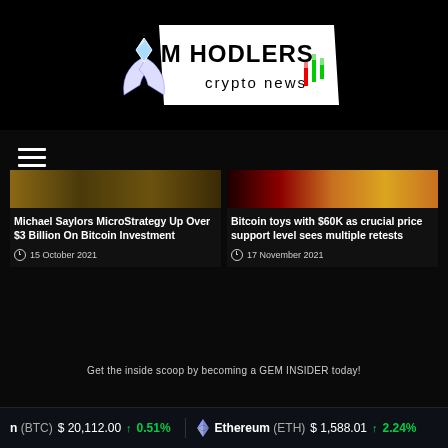[Figure (logo): GEM HODLERS Crypto News logo with hands holding a diamond gem and trading chart candlestick icons]
[Figure (other): Hamburger menu icon (three horizontal white lines)]
[Figure (photo): Gold-toned thumbnail image for MicroStrategy Bitcoin article]
Michael Saylors MicroStrategy Up Over $3 Billion On Bitcoin Investment
15 October 2021
[Figure (photo): Colorful gold/toy thumbnail for Bitcoin $60K article]
Bitcoin toys with $60K as crucial price support level sees multiple retests
17 November 2021
Get the inside scoop by becoming a GEM INSIDER today!
n (BTC)  $ 20,112.00  ↑0.51%    Ethereum (ETH)  $ 1,588.01  ↑2.24%